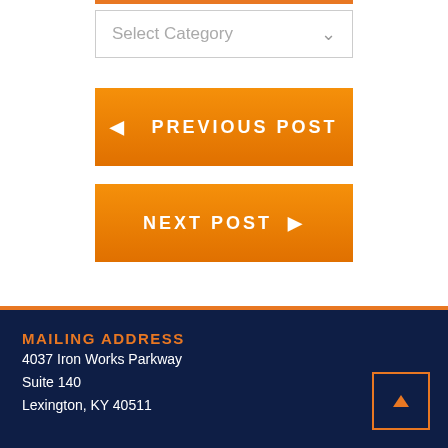[Figure (screenshot): Select Category dropdown input with orange top border and chevron arrow]
[Figure (screenshot): Orange gradient button with text PREVIOUS POST and left arrow]
[Figure (screenshot): Orange gradient button with text NEXT POST and right arrow]
MAILING ADDRESS
4037 Iron Works Parkway
Suite 140
Lexington, KY 40511